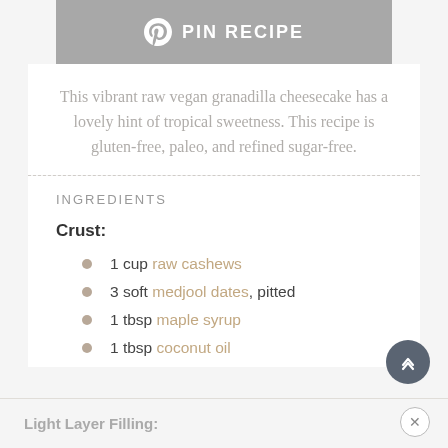[Figure (other): Pinterest PIN RECIPE button with Pinterest logo icon on grey background]
This vibrant raw vegan granadilla cheesecake has a lovely hint of tropical sweetness. This recipe is gluten-free, paleo, and refined sugar-free.
INGREDIENTS
Crust:
1 cup raw cashews
3 soft medjool dates, pitted
1 tbsp maple syrup
1 tbsp coconut oil
Light Layer Filling: